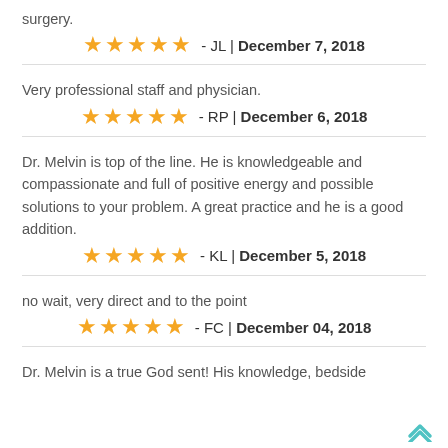surgery.
★★★★★ - JL | December 7, 2018
Very professional staff and physician.
★★★★★ - RP | December 6, 2018
Dr. Melvin is top of the line. He is knowledgeable and compassionate and full of positive energy and possible solutions to your problem. A great practice and he is a good addition.
★★★★★ - KL | December 5, 2018
no wait, very direct and to the point
★★★★★ - FC | December 04, 2018
Dr. Melvin is a true God sent! His knowledge, bedside